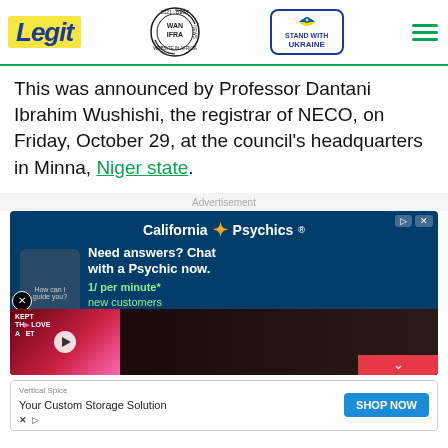Legit | WAN IFRA 2021 Best News Website in Africa | Stand with Ukraine
This was announced by Professor Dantani Ibrahim Wushishi, the registrar of NECO, on Friday, October 29, at the council's headquarters in Minna, Niger state.
Advertisement
[Figure (other): California Psychics advertisement: 'Need answers? Chat with a Psychic now. 1/ per minute* new customers. Sign up now. purchase required.']
[Figure (other): Video overlay showing celebrities with text 'KEPT THE LOVE A SECRET' and play button]
[Figure (other): Bottom banner advertisement: Vertical Spice - Your Custom Storage Solution - SHOP NOW button]